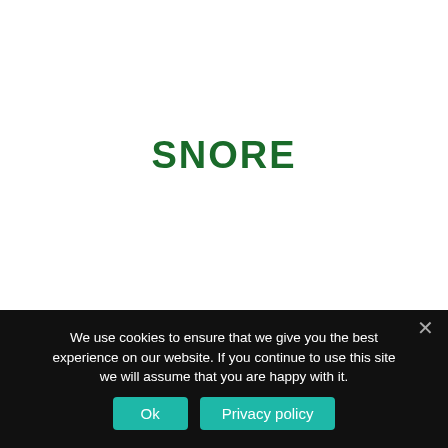SNORE
We use cookies to ensure that we give you the best experience on our website. If you continue to use this site we will assume that you are happy with it.
Ok  Privacy policy